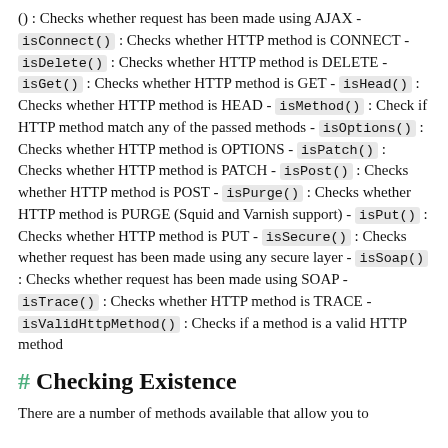() : Checks whether request has been made using AJAX - isConnect() : Checks whether HTTP method is CONNECT - isDelete() : Checks whether HTTP method is DELETE - isGet() : Checks whether HTTP method is GET - isHead() : Checks whether HTTP method is HEAD - isMethod() : Check if HTTP method match any of the passed methods - isOptions() : Checks whether HTTP method is OPTIONS - isPatch() : Checks whether HTTP method is PATCH - isPost() : Checks whether HTTP method is POST - isPurge() : Checks whether HTTP method is PURGE (Squid and Varnish support) - isPut() : Checks whether HTTP method is PUT - isSecure() : Checks whether request has been made using any secure layer - isSoap() : Checks whether request has been made using SOAP - isTrace() : Checks whether HTTP method is TRACE - isValidHttpMethod() : Checks if a method is a valid HTTP method
# Checking Existence
There are a number of methods available that allow you to